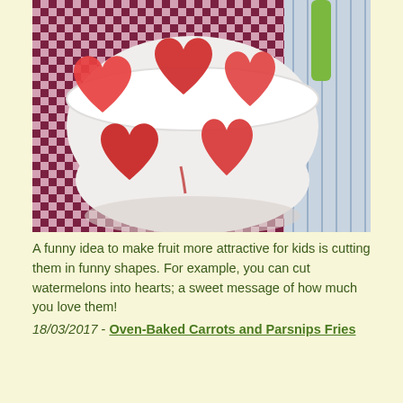[Figure (photo): A white bowl filled with watermelon cut into heart shapes, placed on a purple and white checkered cloth. A green item and striped surface are visible in the background.]
A funny idea to make fruit more attractive for kids is cutting them in funny shapes. For example, you can cut watermelons into hearts; a sweet message of how much you love them!
18/03/2017 - Oven-Baked Carrots and Parsnips Fries